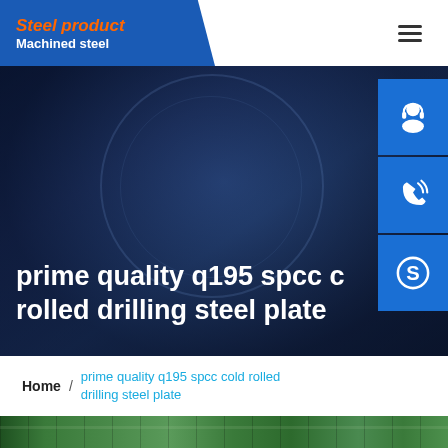Steel product / Machined steel
prime quality q195 spcc cold rolled drilling steel plate
Home / prime quality q195 spcc cold rolled drilling steel plate
[Figure (photo): Factory interior showing green steel processing equipment and overhead structure]
[Figure (illustration): Side navigation buttons: customer service (headset icon), phone/call icon, Skype icon — all on blue square buttons]